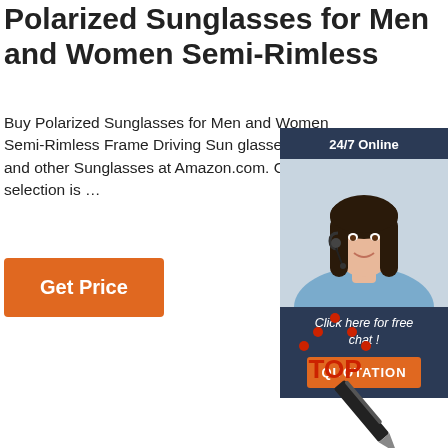Polarized Sunglasses for Men and Women Semi-Rimless
Buy Polarized Sunglasses for Men and Women Semi-Rimless Frame Driving Sun glasses 100% and other Sunglasses at Amazon.com. Our selection is …
[Figure (other): Orange 'Get Price' button]
[Figure (other): Chat widget with woman wearing headset, '24/7 Online' header, 'Click here for free chat!' text, and orange QUOTATION button]
[Figure (logo): TOP badge with red dots forming a triangle above red 'TOP' text]
[Figure (photo): Diagonal pen/pencil at bottom right corner]